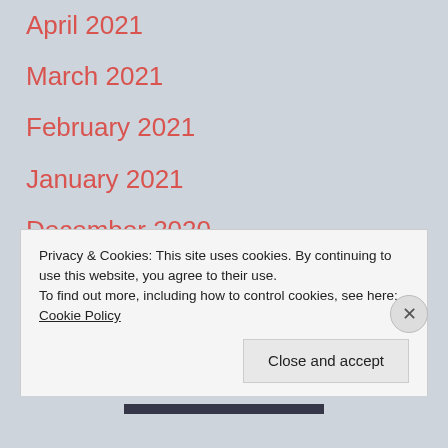April 2021
March 2021
February 2021
January 2021
December 2020
November 2020
October 2020
September 2020
Privacy & Cookies: This site uses cookies. By continuing to use this website, you agree to their use. To find out more, including how to control cookies, see here: Cookie Policy
Close and accept